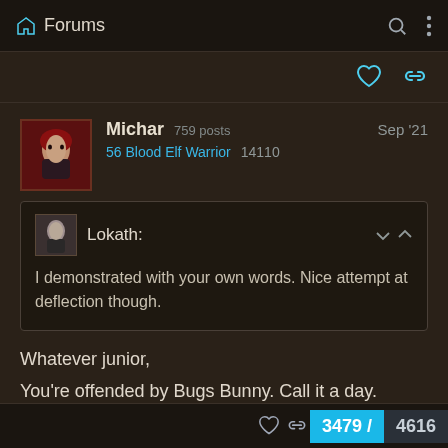Forums
Michar  759 posts
56 Blood Elf Warrior  14110
Sep '21
Lokath:
I demonstrated with your own words. Nice attempt at deflection though.
Whatever junior,
You're offended by Bugs Bunny. Call it a day.
3479 / 4616